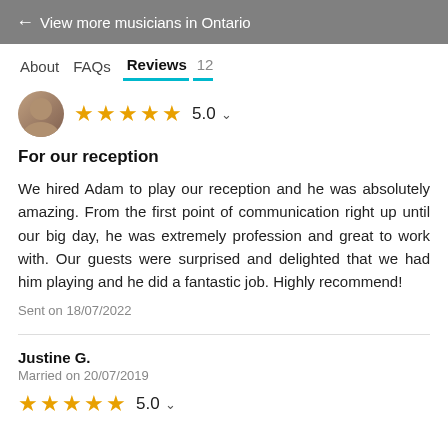← View more musicians in Ontario
About   FAQs   Reviews 12
★★★★★ 5.0 ∨
For our reception
We hired Adam to play our reception and he was absolutely amazing. From the first point of communication right up until our big day, he was extremely profession and great to work with. Our guests were surprised and delighted that we had him playing and he did a fantastic job. Highly recommend!
Sent on 18/07/2022
Justine G.
Married on 20/07/2019
★★★★★ 5.0 ∨